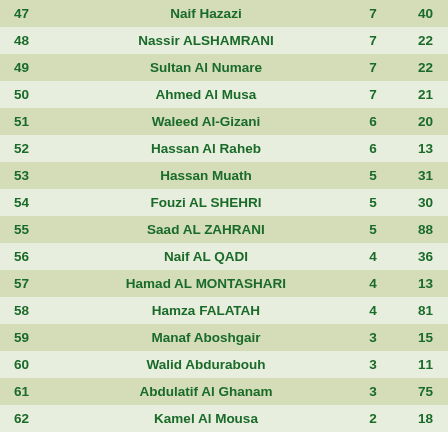| # | Name | Col3 | Col4 |
| --- | --- | --- | --- |
| 47 | Naif Hazazi | 7 | 40 |
| 48 | Nassir ALSHAMRANI | 7 | 22 |
| 49 | Sultan Al Numare | 7 | 22 |
| 50 | Ahmed Al Musa | 7 | 21 |
| 51 | Waleed Al-Gizani | 6 | 20 |
| 52 | Hassan Al Raheb | 6 | 13 |
| 53 | Hassan Muath | 5 | 31 |
| 54 | Fouzi AL SHEHRI | 5 | 30 |
| 55 | Saad AL ZAHRANI | 5 | 88 |
| 56 | Naif AL QADI | 4 | 36 |
| 57 | Hamad AL MONTASHARI | 4 | 13 |
| 58 | Hamza FALATAH | 4 | 81 |
| 59 | Manaf Aboshgair | 3 | 15 |
| 60 | Walid Abdurabouh | 3 | 11 |
| 61 | Abdulatif Al Ghanam | 3 | 75 |
| 62 | Kamel Al Mousa | 2 | 18 |